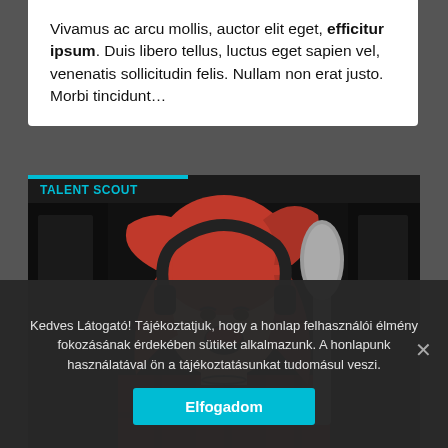Vivamus ac arcu mollis, auctor elit eget, efficitur ipsum. Duis libero tellus, luctus eget sapien vel, venenatis sollicitudin felis. Nullam non erat justo. Morbi tincidunt…
[Figure (photo): A girl with red hair and headphones singing into a microphone in a recording studio, with text 'MISS PINK' overlaid. A cyan bar at top labeled 'TALENT SCOUT'. A red button with person icon at bottom right.]
Kedves Látogató! Tájékoztatjuk, hogy a honlap felhasználói élmény fokozásának érdekében sütiket alkalmazunk. A honlapunk használatával ön a tájékoztatásunkat tudomásul veszi.
Elfogadom